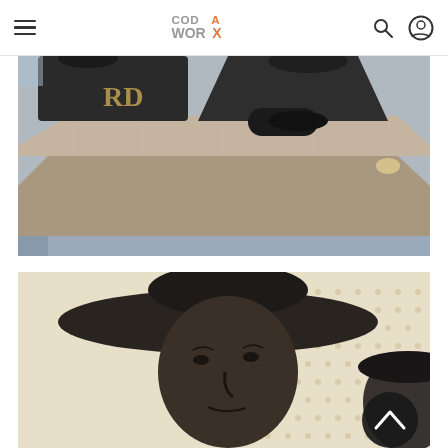CODA WORX — navigation header with hamburger menu, logo, search and profile icons
[Figure (photo): Close-up photograph of the base and lower body of bronze statues on a granite pedestal. Dark robed figures stand on an octagonal stone plinth; letters 'R D' visible on a sash of one figure. Ground is tiled in light grey.]
[Figure (photo): Close-up photograph of the bronze head of a statue wearing a wide-brimmed hat, with a second partially visible bronze figure beside it. Background is a perforated metal panel with a dot pattern. A dark circular back-to-top scroll button is visible in the lower right.]